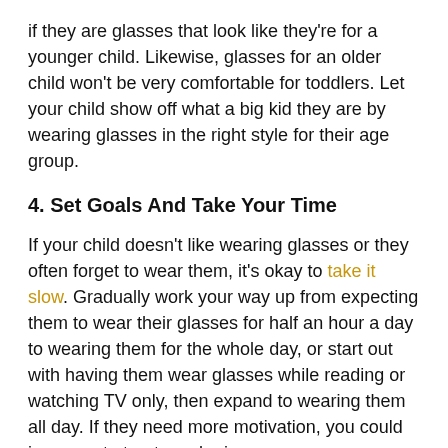if they are glasses that look like they're for a younger child. Likewise, glasses for an older child won't be very comfortable for toddlers. Let your child show off what a big kid they are by wearing glasses in the right style for their age group.
4. Set Goals And Take Your Time
If your child doesn't like wearing glasses or they often forget to wear them, it's okay to take it slow. Gradually work your way up from expecting them to wear their glasses for half an hour a day to wearing them for the whole day, or start out with having them wear glasses while reading or watching TV only, then expand to wearing them all day. If they need more motivation, you could incorporate treats and prizes.
5. Don't Let Them Slack Off!
If you're setting glasses goals, then make sure to stick to them. You want to help your children develop a habit of wearing their glasses.